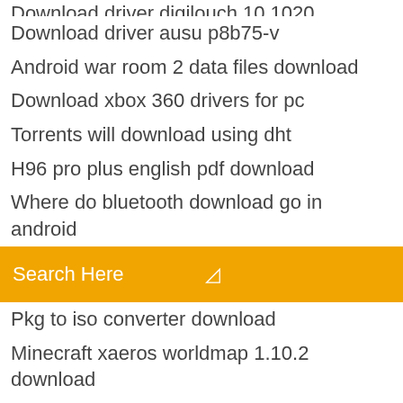Download driver ausu p8b75-v
Android war room 2 data files download
Download xbox 360 drivers for pc
Torrents will download using dht
H96 pro plus english pdf download
Where do bluetooth download go in android
[Figure (screenshot): Orange search bar with text 'Search Here' and a small icon on the right]
Pkg to iso converter download
Minecraft xaeros worldmap 1.10.2 download
Download netflix app on fios
The book thief pdf free download
Max torrent download archive.org
Ic icloud drive download files
3 week diet full pdf free download
How to download ps4 games from friends account
How to download file from festisite
Set up file download automation
Animations for download for android tablet